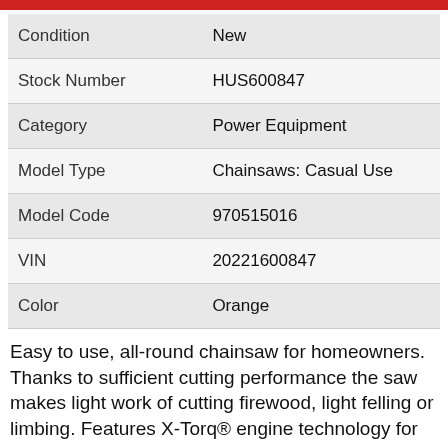| Field | Value |
| --- | --- |
| Condition | New |
| Stock Number | HUS600847 |
| Category | Power Equipment |
| Model Type | Chainsaws: Casual Use |
| Model Code | 970515016 |
| VIN | 20221600847 |
| Color | Orange |
Easy to use, all-round chainsaw for homeowners. Thanks to sufficient cutting performance the saw makes light work of cutting firewood, light felling or limbing. Features X-Torq® engine technology for low emissions and Air Injection that keeps the filter clean. Low kickback cutting equipment for increased safety.